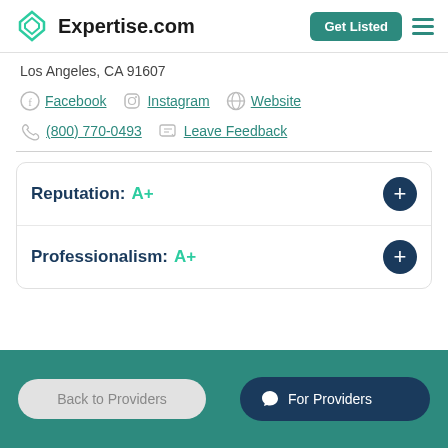Expertise.com — Get Listed
Los Angeles, CA 91607
Facebook   Instagram   Website
(800) 770-0493   Leave Feedback
Reputation: A+
Professionalism: A+
Back to Providers   For Providers